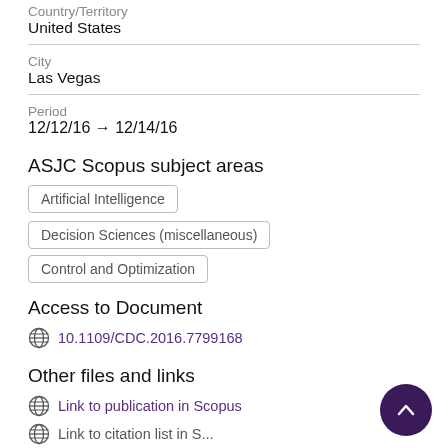Country/Territory
United States
City
Las Vegas
Period
12/12/16 → 12/14/16
ASJC Scopus subject areas
Artificial Intelligence
Decision Sciences (miscellaneous)
Control and Optimization
Access to Document
10.1109/CDC.2016.7799168
Other files and links
Link to publication in Scopus
Link to citation list in Scopus